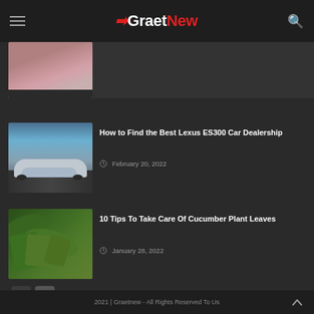GraetNew
[Figure (photo): Partial image of a person in red/pink dress, cropped at top of content area]
[Figure (photo): Lexus ES300 silver car driving on road with scenic background]
How to Find the Best Lexus ES300 Car Dealership
February 20, 2022
[Figure (photo): Cucumber plant with green leaves and cucumbers growing]
10 Tips To Take Care Of Cucumber Plant Leaves
January 28, 2022
2021 | Graetnew - All Rights Reserved To Us